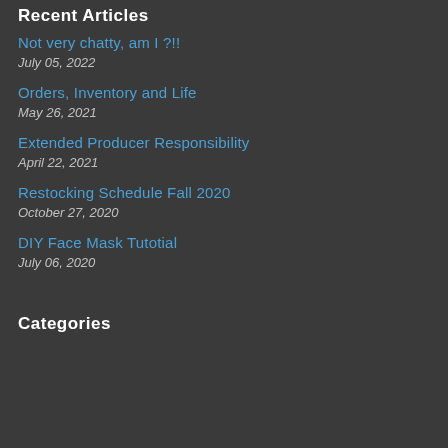Recent Articles
Not very chatty, am I ?!!
July 05, 2022
Orders, Inventory and Life
May 26, 2021
Extended Producer Responsibility
April 22, 2021
Restocking Schedule Fall 2020
October 27, 2020
DIY Face Mask Tutotial
July 06, 2020
Categories